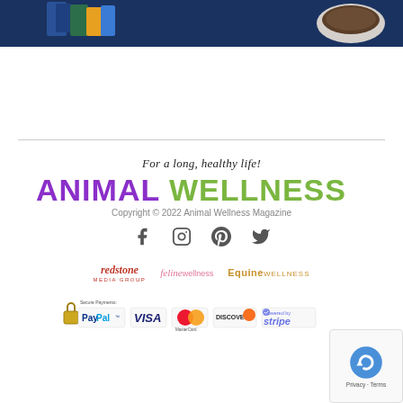[Figure (photo): Top portion of a product advertisement image showing pet food boxes on a dark blue background with a bowl of food visible on the right side.]
[Figure (logo): Animal Wellness Magazine footer logo with tagline 'For a long, healthy life!' above it. Purple ANIMAL text and green WELLNESS text.]
Copyright © 2022 Animal Wellness Magazine
[Figure (infographic): Social media icons: Facebook, Instagram, Pinterest, Twitter]
[Figure (logo): Three partner logos: Redstone Media Group, Feline Wellness, Equine Wellness]
[Figure (infographic): Secure Payments section showing PayPal, VISA, MasterCard, Discover, and Stripe payment logos]
[Figure (other): reCAPTCHA Privacy - Terms overlay in bottom right corner]